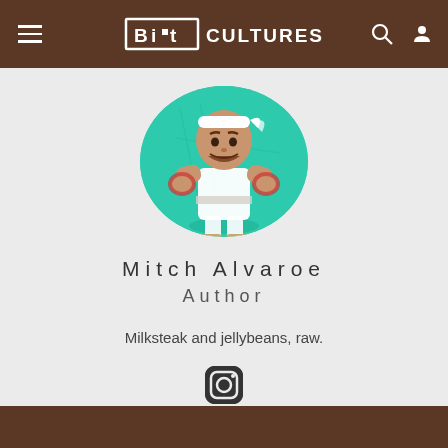Bit Cultures — navigation header with menu, logo, search and user icons
[Figure (illustration): Circular avatar showing a cartoon chibi-style illustration of a man dressed as Street Fighter's Ryu, with white gi outfit, red headband/bandana, brown beard, on a teal/green background]
Mitch Alvaroe
Author
Milksteak and jellybeans, raw.
[Figure (logo): Instagram icon (camera with circle)]
Dark brown footer bar